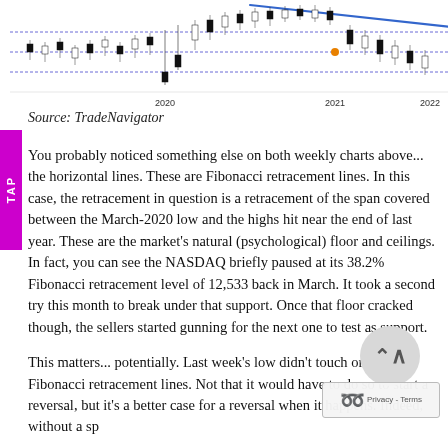[Figure (continuous-plot): Stock chart (candlestick) showing price action from 2020 to 2022 with a descending blue trendline and horizontal Fibonacci retracement lines. Y-axis shows price levels around 18:00, 28:00, 38:00. X-axis labels show 2020, 2021, 2022.]
Source: TradeNavigator
You probably noticed something else on both weekly charts above... the horizontal lines. These are Fibonacci retracement lines. In this case, the retracement in question is a retracement of the span covered between the March-2020 low and the highs hit near the end of last year. These are the market's natural (psychological) floor and ceilings. In fact, you can see the NASDAQ briefly paused at its 38.2% Fibonacci retracement level of 12,533 back in March. It took a second try this month to break under that support. Once that floor cracked though, the sellers started gunning for the next one to test as support.
This matters... potentially. Last week's low didn't touch or test any Fibonacci retracement lines. Not that it would have to do so to start a reversal, but it's a better case for a reversal when it happens. Indeed, without a specific volatility indicator, it's tough to say...